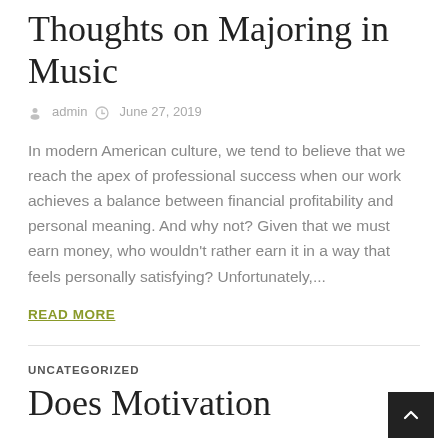Thoughts on Majoring in Music
admin   June 27, 2019
In modern American culture, we tend to believe that we reach the apex of professional success when our work achieves a balance between financial profitability and personal meaning. And why not? Given that we must earn money, who wouldn't rather earn it in a way that feels personally satisfying? Unfortunately,...
READ MORE
UNCATEGORIZED
Does Motivation